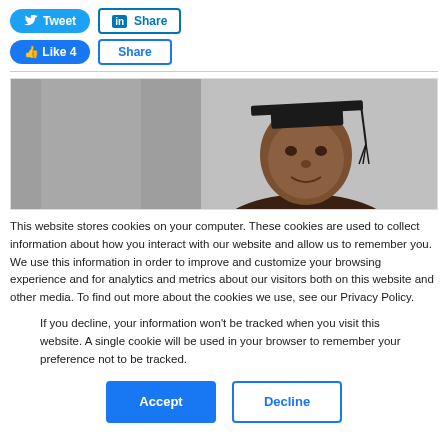[Figure (screenshot): Social media sharing buttons: Tweet, LinkedIn Share (top row), Like 4, Share (bottom row)]
[Figure (photo): A young Black man wearing a black graduation cap, photographed from the shoulders up, against a grey stone column background. Only the top portion of his face and his mortarboard cap are visible.]
This website stores cookies on your computer. These cookies are used to collect information about how you interact with our website and allow us to remember you. We use this information in order to improve and customize your browsing experience and for analytics and metrics about our visitors both on this website and other media. To find out more about the cookies we use, see our Privacy Policy.
If you decline, your information won't be tracked when you visit this website. A single cookie will be used in your browser to remember your preference not to be tracked.
[Figure (screenshot): Two buttons: a filled blue Accept button and an outlined Decline button]